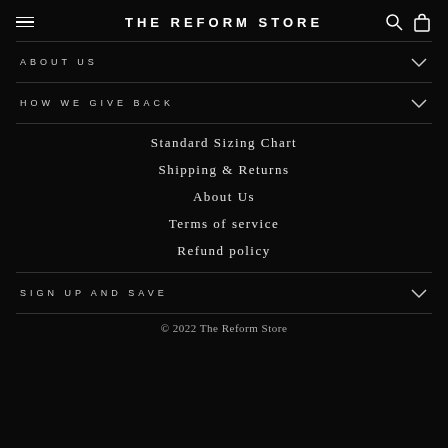THE REFORM STORE
ABOUT US
HOW WE GIVE BACK
Standard Sizing Chart
Shipping & Returns
About Us
Terms of service
Refund policy
SIGN UP AND SAVE
© 2022 The Reform Store